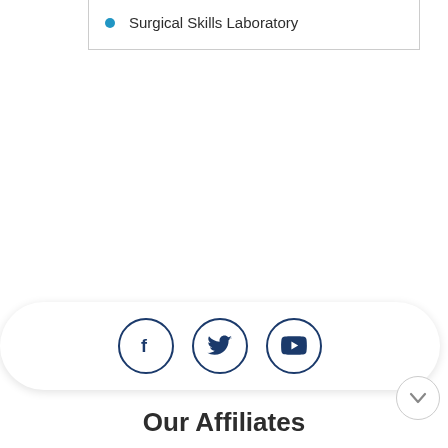Surgical Skills Laboratory
[Figure (other): Social media icon bar with Facebook, Twitter, and YouTube circle icons in dark navy blue outline style]
Our Affiliates